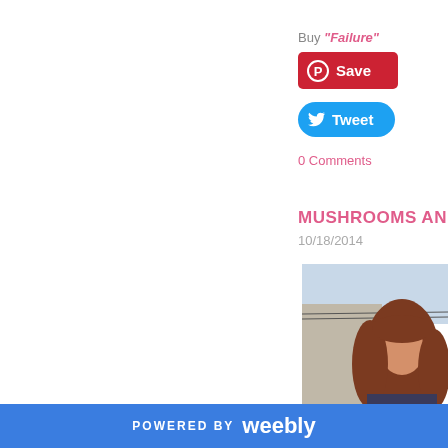[Figure (photo): Partial top image visible at top right]
Buy "Failure"
[Figure (other): Red Pinterest Save button]
[Figure (other): Blue Twitter Tweet button]
0 Comments
MUSHROOMS AND
10/18/2014
[Figure (photo): Photo of a woman with long red/brown hair outdoors near a building]
POWERED BY weebly